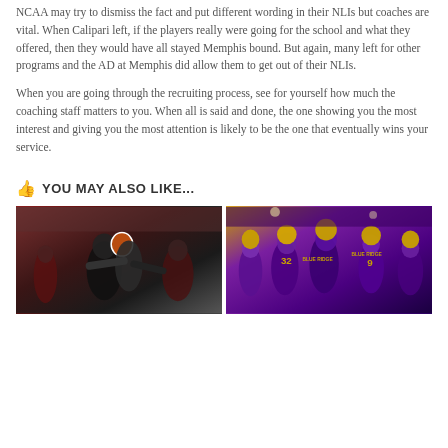NCAA may try to dismiss the fact and put different wording in their NLIs but coaches are vital. When Calipari left, if the players really were going for the school and what they offered, then they would have all stayed Memphis bound. But again, many left for other programs and the AD at Memphis did allow them to get out of their NLIs.
When you are going through the recruiting process, see for yourself how much the coaching staff matters to you. When all is said and done, the one showing you the most interest and giving you the most attention is likely to be the one that eventually wins your service.
YOU MAY ALSO LIKE...
[Figure (photo): Football game action shot showing players tackling, dark and maroon uniforms]
[Figure (photo): Blue Ridge high school football team players in purple and gold uniforms, numbers 32 and 9 visible]